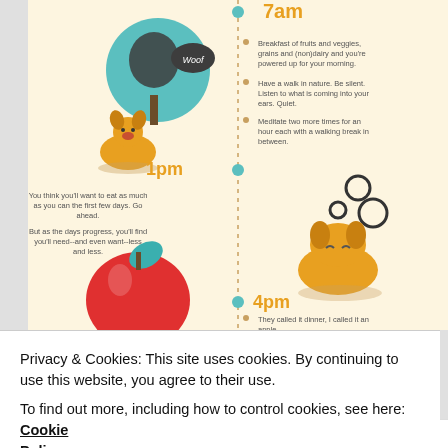[Figure (infographic): A daily schedule infographic with a warm cream background showing times (7am, 1pm, 4pm) along a dotted vertical timeline. Illustrations include a pug dog next to a tree with a 'Woof' speech bubble at 7am, a sleeping yellow cartoon dog with floating circles at 1pm, and a red apple with a teal leaf at 4pm. Each time slot has bullet-pointed text describing activities like eating, walking in nature, meditating, and eating light meals.]
Privacy & Cookies: This site uses cookies. By continuing to use this website, you agree to their use.
To find out more, including how to control cookies, see here: Cookie Policy
Close and accept
The Silent Treatment: Every Single Day